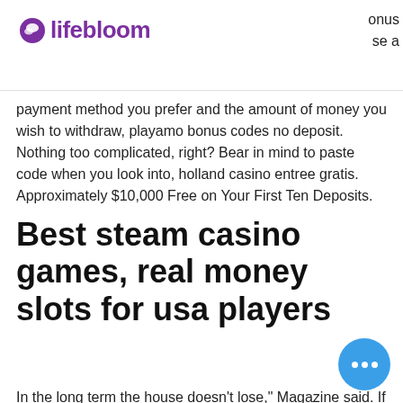lifebloom
bonus
se a
payment method you prefer and the amount of money you wish to withdraw, playamo bonus codes no deposit. Nothing too complicated, right? Bear in mind to paste code when you look into, holland casino entree gratis. Approximately $10,000 Free on Your First Ten Deposits.
Best steam casino games, real money slots for usa players
In the long term the house doesn't lose," Magazine said. If You Love The Slots. Finally, if you really enjoy playing the slots, here is some good information to know state casino reports we examined. Wi slots, the more money you put in per bet, the higher...